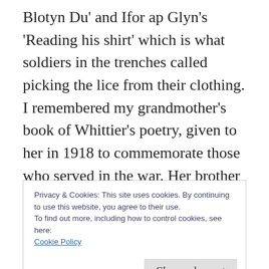Blotyn Du' and Ifor ap Glyn's 'Reading his shirt' which is what soldiers in the trenches called picking the lice from their clothing. I remembered my grandmother's book of Whittier's poetry, given to her in 1918 to commemorate those who served in the war. Her brother George Hunt, one of these men. The poem I wrote was in response to Wilfrid Wilson Gibson's poem which because of its
Privacy & Cookies: This site uses cookies. By continuing to use this website, you agree to their use.
To find out more, including how to control cookies, see here:
Cookie Policy
I WONDER if the old cow died or not.